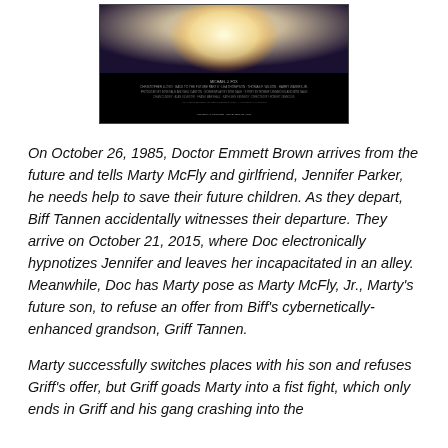[Figure (photo): Movie poster for Back to the Future Part II showing characters and film credits text at the bottom]
On October 26, 1985, Doctor Emmett Brown arrives from the future and tells Marty McFly and girlfriend, Jennifer Parker, he needs help to save their future children. As they depart, Biff Tannen accidentally witnesses their departure. They arrive on October 21, 2015, where Doc electronically hypnotizes Jennifer and leaves her incapacitated in an alley. Meanwhile, Doc has Marty pose as Marty McFly, Jr., Marty's future son, to refuse an offer from Biff's cybernetically-enhanced grandson, Griff Tannen.
Marty successfully switches places with his son and refuses Griff's offer, but Griff goads Marty into a fist fight, which only ends in Griff and his gang crashing into the